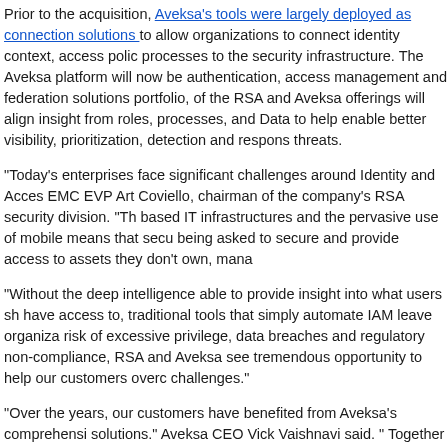Prior to the acquisition, Aveksa's tools were largely deployed as connection solutions to allow organizations to connect identity context, access policies, processes to the security infrastructure. The Aveksa platform will now be part of authentication, access management and federation solutions portfolio, of RSA, and the RSA and Aveksa offerings will align insight from roles, processes, and Big Data to help enable better visibility, prioritization, detection and response to threats.
"Today's enterprises face significant challenges around Identity and Access," said EMC EVP Art Coviello, chairman of the company's RSA security division. "The cloud-based IT infrastructures and the pervasive use of mobile means that security teams are being asked to secure and provide access to assets they don't own, manage or control."
"Without the deep intelligence able to provide insight into what users should have access to, traditional tools that simply automate IAM leave organizations at risk of excessive privilege, data breaches and regulatory non-compliance," he said. "RSA and Aveksa see tremendous opportunity to help our customers overcome these challenges."
"Over the years, our customers have benefited from Aveksa's comprehensive solutions," Aveksa CEO Vick Vaishnavi said. "Together with RSA, we can...